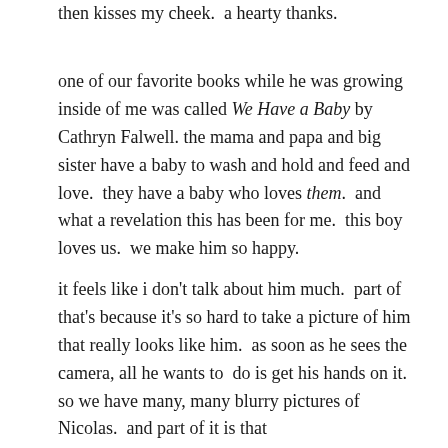then kisses my cheek.  a hearty thanks.
one of our favorite books while he was growing inside of me was called We Have a Baby by Cathryn Falwell.  the mama and papa and big sister have a baby to wash and hold and feed and love.  they have a baby who loves them.  and what a revelation this has been for me.  this boy loves us.  we make him so happy.
it feels like i don't talk about him much.  part of that's because it's so hard to take a picture of him that really looks like him.  as soon as he sees the camera, all he wants to  do is get his hands on it.  so we have many, many blurry pictures of Nicolas.  and part of it is that